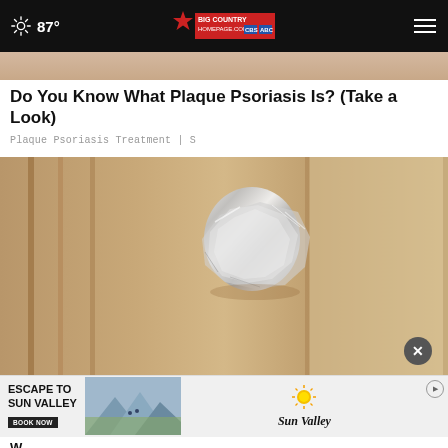87° | BIG COUNTRY HOMEPAGE.COM
[Figure (photo): Partial view of an image at top of page, showing skin-toned content (psoriasis article thumbnail)]
Do You Know What Plaque Psoriasis Is? (Take a Look)
Plaque Psoriasis Treatment | S
[Figure (photo): A door knob wrapped in aluminum foil on a wooden door]
[Figure (screenshot): Advertisement banner: ESCAPE TO SUN VALLEY with BOOK NOW button, scenic mountain photo, and Sun Valley logo with sun graphic]